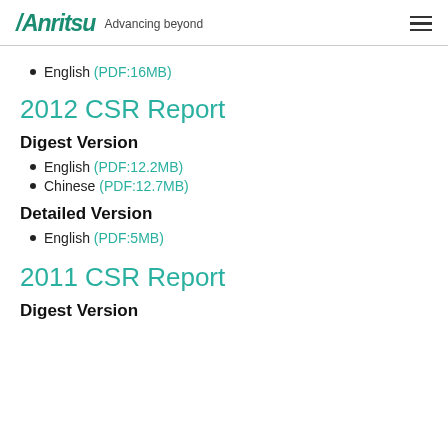Anritsu Advancing beyond
English (PDF:16MB)
2012 CSR Report
Digest Version
English (PDF:12.2MB)
Chinese (PDF:12.7MB)
Detailed Version
English (PDF:5MB)
2011 CSR Report
Digest Version